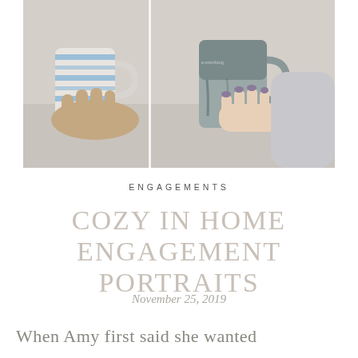[Figure (photo): Two people holding mugs - one blue striped ceramic mug held by a man's hand and one dark gradient mug held by a woman's hand, cozy indoor setting]
ENGAGEMENTS
COZY IN HOME ENGAGEMENT PORTRAITS
November 25, 2019
When Amy first said she wanted